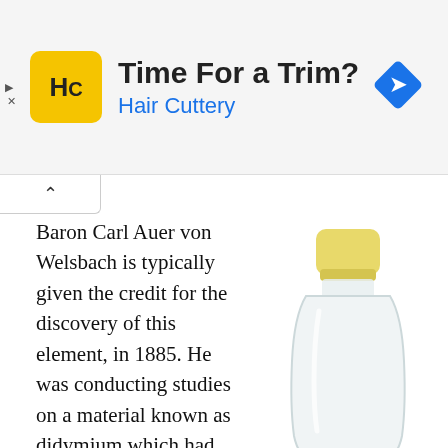[Figure (other): Hair Cuttery advertisement banner with yellow HC logo, title 'Time For a Trim?', subtitle 'Hair Cuttery', and a blue navigation diamond icon on the right.]
[Figure (photo): A clear plastic squeeze bottle with a yellow cap, containing a clear liquid, photographed on a white background.]
Baron Carl Auer von Welsbach is typically given the credit for the discovery of this element, in 1885. He was conducting studies on a material known as didymium which had been discovered by Carl Mosander in 1841, and ultimately used a